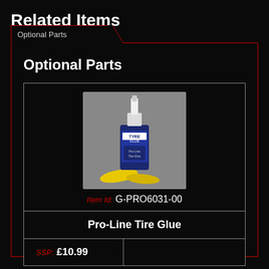Related Items
Optional Parts
[Figure (photo): Photo of Pro-Line Tire Glue bottle with yellow accessories on grey background]
|  |  |
| --- | --- |
| Item Id: G-PRO6031-00 |  |
| Pro-Line Tire Glue |  |
| SSP: £10.99 |  |